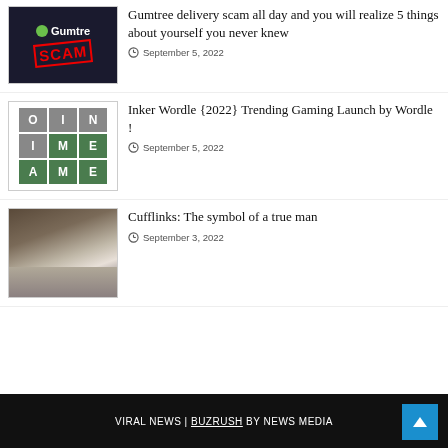[Figure (illustration): Gumtree logo with SCAM stamp on dark background]
Gumtree delivery scam all day and you will realize 5 things about yourself you never knew
September 5, 2022
[Figure (illustration): Wordle-style letter grid showing O, I, N / I, M, E / A, M, E]
Inker Wordle {2022} Trending Gaming Launch by Wordle !
September 5, 2022
[Figure (photo): Close-up of a man's wrist wearing a cufflink on a white shirt with suit jacket]
Cufflinks: The symbol of a true man
September 3, 2022
VIRAL NEWS | BUZRUSH by NEWS MEDIA